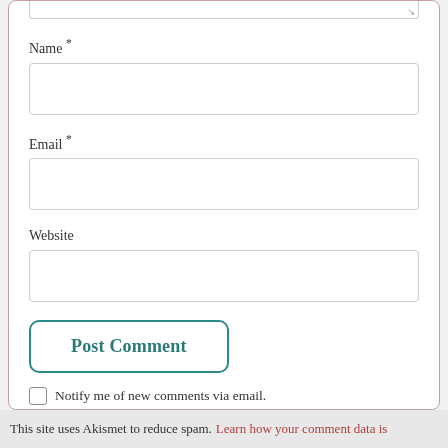Name *
Email *
Website
Post Comment
Notify me of new comments via email.
Notify me of new posts via email.
This site uses Akismet to reduce spam. Learn how your comment data is